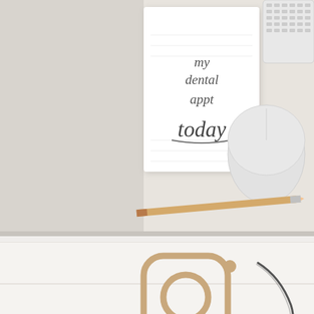[Figure (photo): Top portion: desk flatlay showing a white notepad/card with handwritten-style text reading 'my dental appt today', a wooden pencil, a white Apple Magic Mouse, and a white Apple keyboard, all on a light grey/cream surface.]
[Figure (infographic): Middle section on white wood-panel background: Instagram camera icon in tan/beige outline style, a hand-drawn arrow pointing to it, and large text reading 'FOLLOW US ON INSTAGRAM' in dark grey sans-serif.]
[Figure (photo): Bottom partial section: cropped photo, showing the top portion of what appears to be a circular object on a light background.]